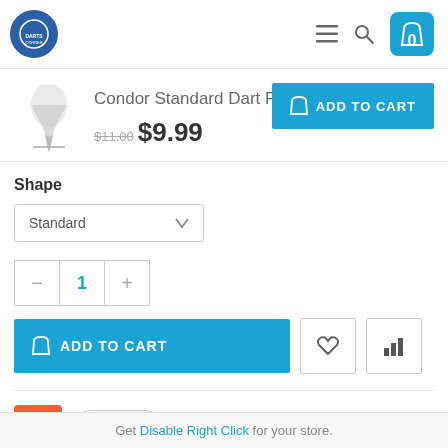Darts store navigation header with logo, hamburger menu, search icon, and cart (0 items)
Condor Standard Dart Flights
$11.00 $9.99
ADD TO CART
Shape
Standard
1
ADD TO CART
0
Get Disable Right Click for your store.